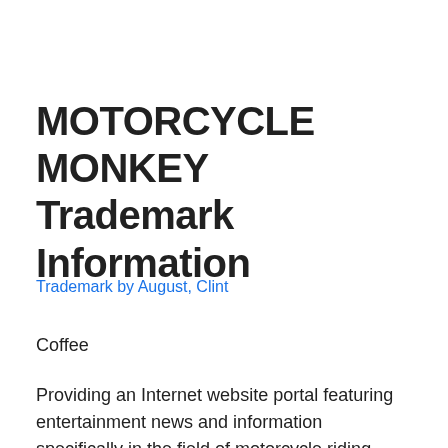MOTORCYCLE MONKEY Trademark Information
Trademark by August, Clint
Coffee
Providing an Internet website portal featuring entertainment news and information specifically in the field of motorcycle riding